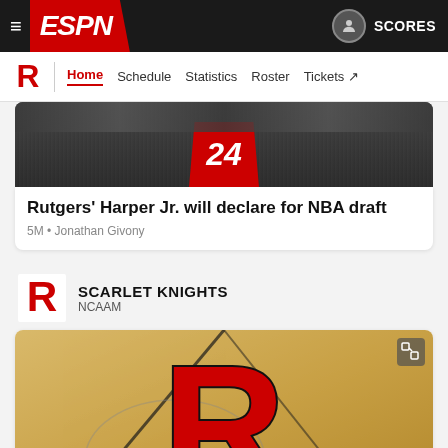ESPN — SCORES
Home | Schedule | Statistics | Roster | Tickets
[Figure (photo): Basketball player wearing jersey number 24 in a red uniform, crowd in background]
Rutgers' Harper Jr. will declare for NBA draft
5M • Jonathan Givony
SCARLET KNIGHTS
NCAAM
[Figure (photo): Rutgers Scarlet Knights logo on basketball court floor — large red R on hardwood]
Young, winningest coach in Rutgers history, dies